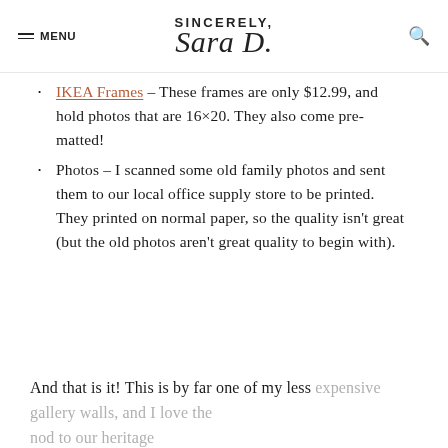SINCERELY, Sara D. — MENU [search icon]
IKEA Frames – These frames are only $12.99, and hold photos that are 16×20. They also come pre-matted!
Photos – I scanned some old family photos and sent them to our local office supply store to be printed. They printed on normal paper, so the quality isn't great (but the old photos aren't great quality to begin with).
And that is it! This is by far one of my less expensive gallery walls, and I love the nod to our heritage.